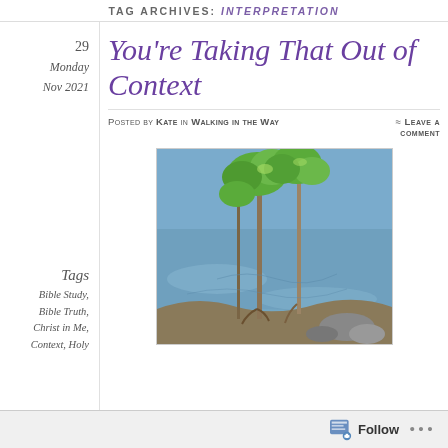TAG ARCHIVES: INTERPRETATION
29
Monday
Nov 2021
You're Taking That Out of Context
Posted by Kate in Walking in the Way
≈ Leave a comment
Tags
Bible Study,
Bible Truth,
Christ in Me,
Context, Holy
[Figure (photo): Photograph of trees growing in or near water, with green leaves and sunlight reflecting off the water surface. Roots and rocks visible at water's edge.]